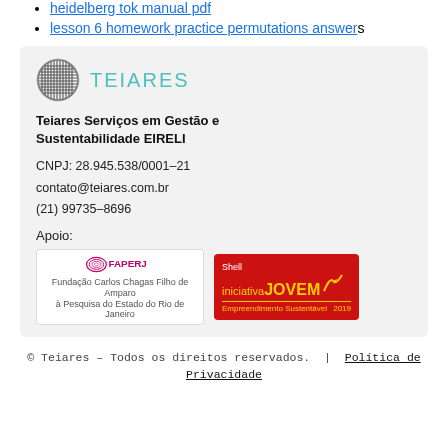heidelberg tok manual pdf
lesson 6 homework practice permutations answers
[Figure (logo): Teiares logo: circular grid icon in dark gray next to teal uppercase TEIARES text]
Teiares Serviços em Gestão e Sustentabilidade EIRELI
CNPJ: 28.945.538/0001-21
contato@teiares.com.br
(21) 99735-8696
Apoio:
[Figure (logo): FAPERJ logo with spiral graphic and text: Fundação Carlos Chagas Filho de Amparo à Pesquisa do Estado do Rio de Janeiro]
[Figure (logo): Shell Iniciativa JOVEM - Empreendimento Sustentável 2019 logo on red background with yellow text and shell bird icon]
© Teiares – Todos os direitos reservados. | Política de Privacidade